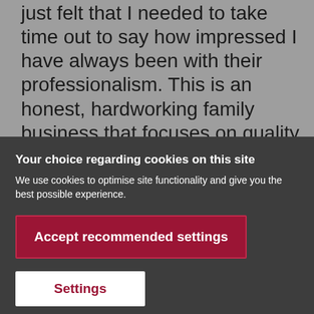just felt that I needed to take time out to say how impressed I have always been with their professionalism. This is an honest, hardworking family business that focuses on quality and service. With
Your choice regarding cookies on this site
We use cookies to optimise site functionality and give you the best possible experience.
Accept recommended settings
Settings